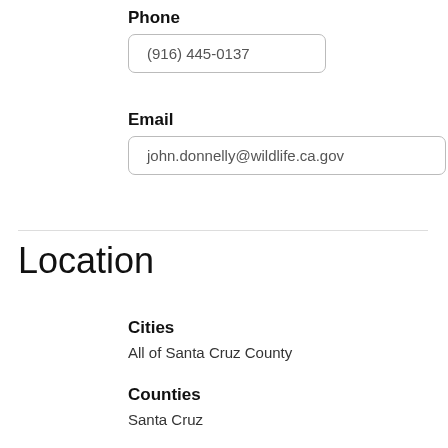Phone
(916) 445-0137
Email
john.donnelly@wildlife.ca.gov
Location
Cities
All of Santa Cruz County
Counties
Santa Cruz